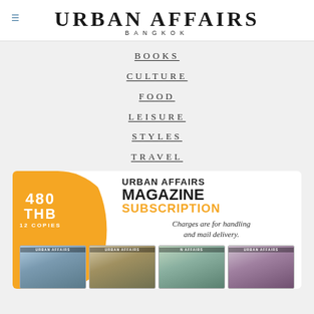URBAN AFFAIRS BANGKOK
BOOKS
CULTURE
FOOD
LEISURE
STYLES
TRAVEL
[Figure (infographic): Urban Affairs Magazine subscription advertisement banner. Orange blob shape on left with '480 THB 12 COPIES' text. Right side shows 'URBAN AFFAIRS MAGAZINE SUBSCRIPTION - Charges are for handling and mail delivery.' Below are four magazine cover thumbnails.]